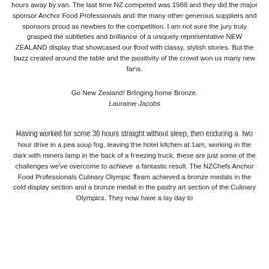hours away by van. The last time NZ competed was 1988 and they did the major sponsor Anchor Food Professionals and the many other generous suppliers and sponsors proud as newbies to the competition. I am not sure the jury truly grasped the subtleties and brilliance of a uniquely representative NEW ZEALAND display that showcased our food with classy, stylish stories. But the buzz created around the table and the positivity of the crowd won us many new fans.
Go New Zealand! Bringing home Bronze.
Lauraine Jacobs
Having worked for some 36 hours straight without sleep, then enduring a  two hour drive in a pea soup fog, leaving the hotel kitchen at 1am, working in the dark with miners lamp in the back of a freezing truck, these are just some of the challenges we've overcome to achieve a fantastic result. The NZChefs Anchor Food Professionals Culinary Olympic Team achieved a bronze medals in the cold display section and a bronze medal in the pastry art section of the Culinary Olympics. They now have a lay day to